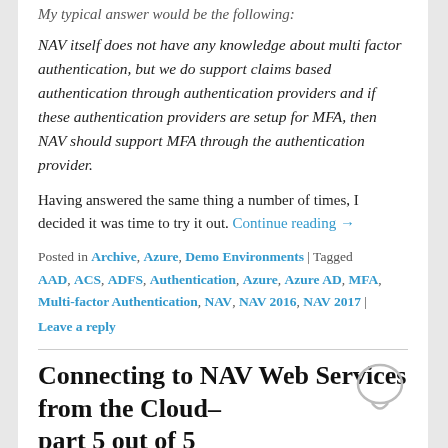My typical answer would be the following:
NAV itself does not have any knowledge about multi factor authentication, but we do support claims based authentication through authentication providers and if these authentication providers are setup for MFA, then NAV should support MFA through the authentication provider.
Having answered the same thing a number of times, I decided it was time to try it out. Continue reading →
Posted in Archive, Azure, Demo Environments | Tagged AAD, ACS, ADFS, Authentication, Azure, Azure AD, MFA, Multi-factor Authentication, NAV, NAV 2016, NAV 2017 | Leave a reply
Connecting to NAV Web Services from the Cloud– part 5 out of 5